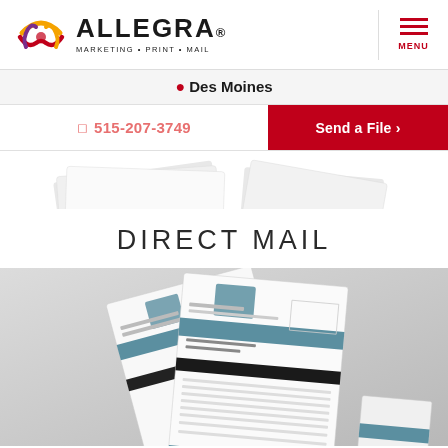[Figure (logo): Allegra Marketing Print Mail logo with colorful stylized A icon]
MENU
Des Moines
515-207-3749
Send a File ›
DIRECT MAIL
[Figure (photo): Marketing mail documents and envelopes on a gray background]